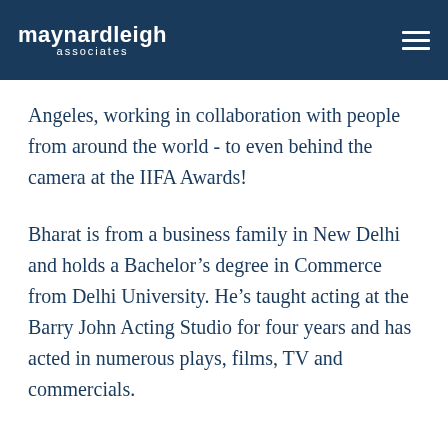maynardleigh associates
Angeles, working in collaboration with people from around the world - to even behind the camera at the IIFA Awards!
Bharat is from a business family in New Delhi and holds a Bachelor’s degree in Commerce from Delhi University. He’s taught acting at the Barry John Acting Studio for four years and has acted in numerous plays, films, TV and commercials.